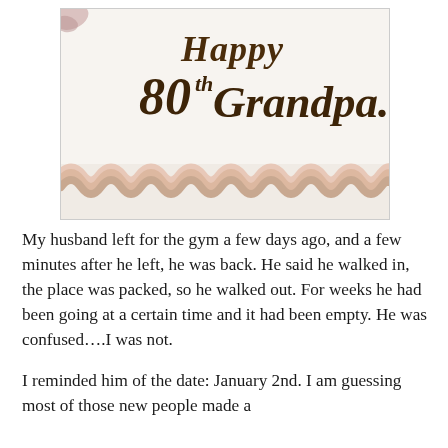[Figure (photo): Close-up photo of a white frosted birthday cake with chocolate cursive writing that reads 'Happy 80th Grandpa' with decorative pink/cream frosting border along the bottom edge]
My husband left for the gym a few days ago, and a few minutes after he left, he was back. He said he walked in, the place was packed, so he walked out. For weeks he had been going at a certain time and it had been empty. He was confused….I was not.
I reminded him of the date: January 2nd. I am guessing most of those new people made a